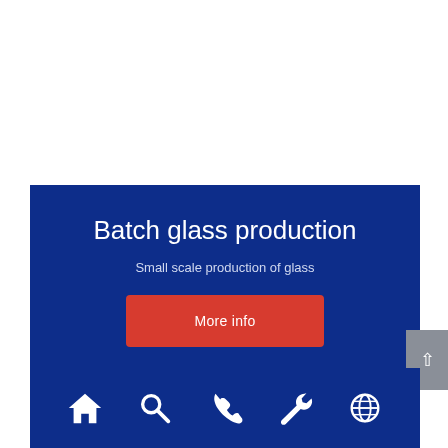Batch glass production
Small scale production of glass
More info
[Figure (infographic): Navigation icon bar with home, search, phone, wrench/settings, and globe icons on dark blue background]